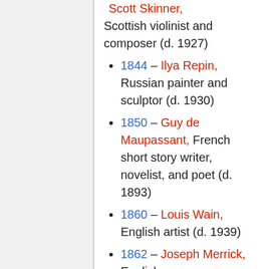Scott Skinner, Scottish violinist and composer (d. 1927)
1844 – Ilya Repin, Russian painter and sculptor (d. 1930)
1850 – Guy de Maupassant, French short story writer, novelist, and poet (d. 1893)
1860 – Louis Wain, English artist (d. 1939)
1862 – Joseph Merrick, English